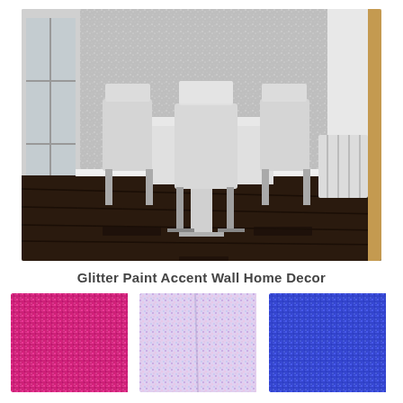[Figure (photo): Interior dining room with white table and chairs against a sparkling silver glitter accent wall, dark wood floor, glass door on left, radiator on right]
Glitter Paint Accent Wall Home Decor
[Figure (photo): Close-up of pink/magenta chunky glitter]
[Figure (photo): Close-up of iridescent/holographic chunky glitter in pastel colors on fabric]
[Figure (photo): Close-up of blue/purple chunky glitter]